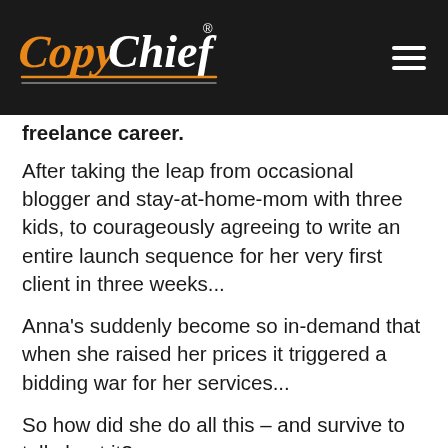Copy Chief [logo and navigation]
freelance career.
After taking the leap from occasional blogger and stay-at-home-mom with three kids, to courageously agreeing to write an entire launch sequence for her very first client in three weeks...
Anna’s suddenly become so in-demand that when she raised her prices it triggered a bidding war for her services...
So how did she do all this – and survive to tell about it?